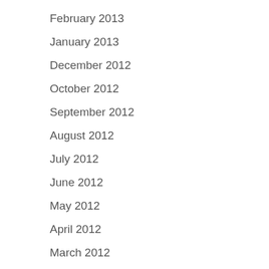June 2013
February 2013
January 2013
December 2012
October 2012
September 2012
August 2012
July 2012
June 2012
May 2012
April 2012
March 2012